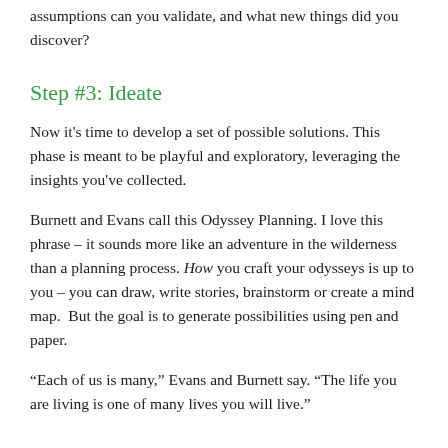assumptions can you validate, and what new things did you discover?
Step #3: Ideate
Now it's time to develop a set of possible solutions. This phase is meant to be playful and exploratory, leveraging the insights you've collected.
Burnett and Evans call this Odyssey Planning. I love this phrase – it sounds more like an adventure in the wilderness than a planning process. How you craft your odysseys is up to you – you can draw, write stories, brainstorm or create a mind map.  But the goal is to generate possibilities using pen and paper.
“Each of us is many,” Evans and Burnett say. “The life you are living is one of many lives you will live.”